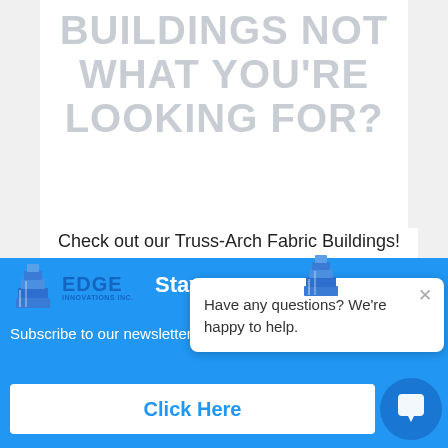BUILDINGS NOT WHAT YOU'RE LOOKING FOR?
Check out our Truss-Arch Fabric Buildings! Considered one of the most diverse fabric building structures on the market, the truss arch fabric building system is a building solution used in a wide range of industries for a variety of
[Figure (logo): Edge Innovations Inc. logo with blue building icon and company name]
Stay up
Subscribe to our newsletter *
Click Here
[Figure (screenshot): Chat popup bubble with building icon and text: Have any questions? We're happy to help.]
[Figure (illustration): Blue circular chat button in bottom right corner]